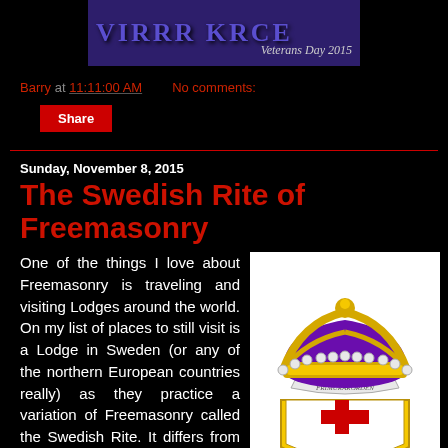[Figure (illustration): Blog header banner with stylized text and 'Veterans Day 2015' subtitle on dark purple background]
Barry at 11:11:00 AM    No comments:
Share
Sunday, November 8, 2015
The Swedish Rite of Freemasonry
One of the things I love about Freemasonry is traveling and visiting Lodges around the world. On my list of places to still visit is a Lodge in Sweden (or any of the northern European countries really) as they practice a variation of Freemasonry called the Swedish Rite. It differs from the
[Figure (illustration): Swedish Rite of Freemasonry logo: a golden crown with purple velvet, pearl trim, and a white/gold shield below bearing a red Maltese cross]